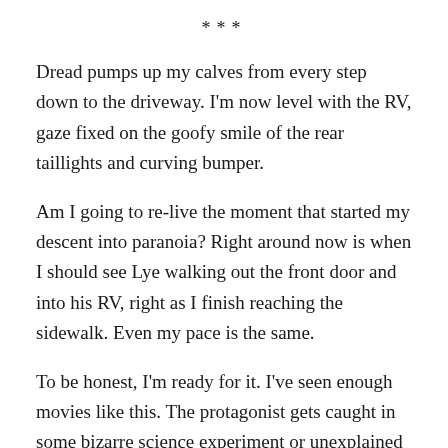***
Dread pumps up my calves from every step down to the driveway. I'm now level with the RV, gaze fixed on the goofy smile of the rear taillights and curving bumper.
Am I going to re-live the moment that started my descent into paranoia? Right around now is when I should see Lye walking out the front door and into his RV, right as I finish reaching the sidewalk. Even my pace is the same.
To be honest, I'm ready for it. I've seen enough movies like this. The protagonist gets caught in some bizarre science experiment or unexplained phenomena or gains a special power to reverse time. But I don't want to have to deal with this again. Please.
I don't see him. No one leaves the home across from ours and